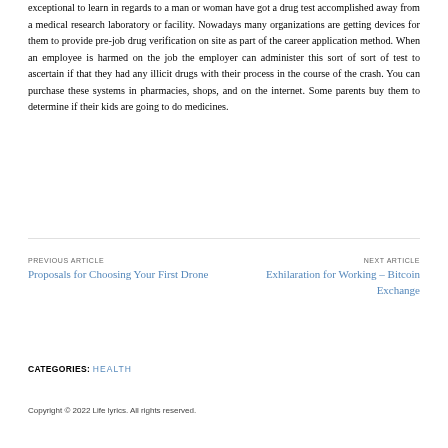exceptional to learn in regards to a man or woman have got a drug test accomplished away from a medical research laboratory or facility. Nowadays many organizations are getting devices for them to provide pre-job drug verification on site as part of the career application method. When an employee is harmed on the job the employer can administer this sort of sort of test to ascertain if that they had any illicit drugs with their process in the course of the crash. You can purchase these systems in pharmacies, shops, and on the internet. Some parents buy them to determine if their kids are going to do medicines.
PREVIOUS ARTICLE
Proposals for Choosing Your First Drone
NEXT ARTICLE
Exhilaration for Working – Bitcoin Exchange
CATEGORIES: HEALTH
Copyright © 2022 Life lyrics. All rights reserved.